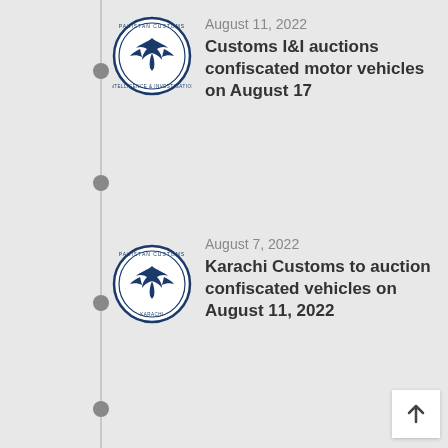August 11, 2022
Customs I&I auctions confiscated motor vehicles on August 17
August 7, 2022
Karachi Customs to auction confiscated vehicles on August 11, 2022
August 7, 2022
Peshawar Customs to auction motor vehicles on August 11, 2022
July 26, 2022
Gwadar customs auctions motor vehicles on July 28, 2022